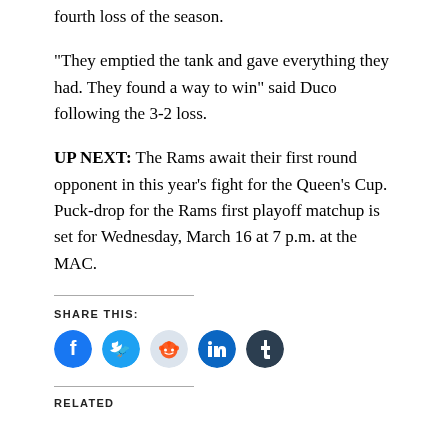fourth loss of the season.
“They emptied the tank and gave everything they had. They found a way to win” said Duco following the 3-2 loss.
UP NEXT: The Rams await their first round opponent in this year’s fight for the Queen’s Cup. Puck-drop for the Rams first playoff matchup is set for Wednesday, March 16 at 7 p.m. at the MAC.
SHARE THIS:
[Figure (infographic): Social share buttons: Facebook (blue), Twitter (blue), Reddit (light grey), LinkedIn (dark blue), Tumblr (dark navy)]
RELATED